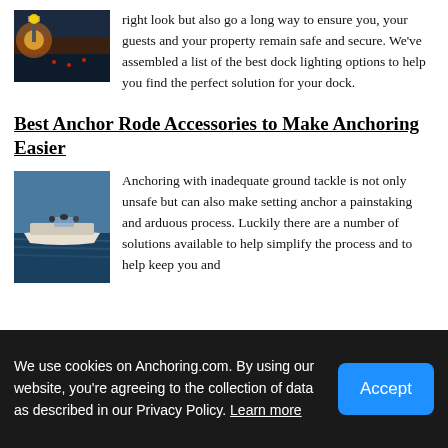[Figure (photo): Photo of dock lighting at sunset, showing warm yellow lamp glow]
right look but also go a long way to ensure you, your guests and your property remain safe and secure. We've assembled a list of the best dock lighting options to help you find the perfect solution for your dock.
Best Anchor Rode Accessories to Make Anchoring Easier
[Figure (photo): Photo of a small motorboat on calm blue water with people aboard]
Anchoring with inadequate ground tackle is not only unsafe but can also make setting anchor a painstaking and arduous process. Luckily there are a number of solutions available to help simplify the process and to help keep you and
We use cookies on Anchoring.com. By using our website, you're agreeing to the collection of data as described in our Privacy Policy. Learn more